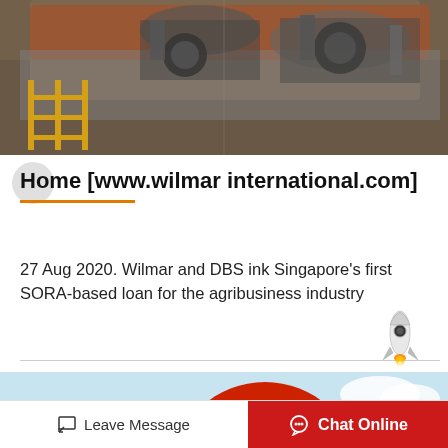[Figure (photo): Industrial machinery photo showing large pipes, equipment with yellow railings and metal structures]
Home [www.wilmar international.com]
27 Aug 2020. Wilmar and DBS ink Singapore's first SORA-based loan for the agribusiness industry
[Figure (illustration): Small rocket emoji/illustration]
[Figure (photo): Industrial storage tank photo, red spherical tank against blue sky]
Leave Message   Chat Online